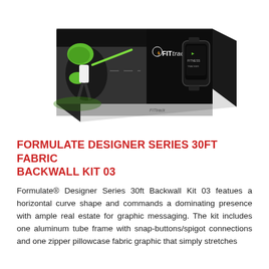[Figure (photo): 3D rendering of a 30ft fabric backwall display with a horizontal curve shape. The display features a dark/black graphic with a baseball player in green highlights on the left side and a FITtrack branded smartwatch device on the right side. The display appears to be a trade show exhibit backwall shown in perspective view.]
FORMULATE DESIGNER SERIES 30FT FABRIC BACKWALL KIT 03
Formulate® Designer Series 30ft Backwall Kit 03 featues a horizontal curve shape and commands a dominating presence with ample real estate for graphic messaging. The kit includes one aluminum tube frame with snap-buttons/spigot connections and one zipper pillowcase fabric graphic that simply stretches